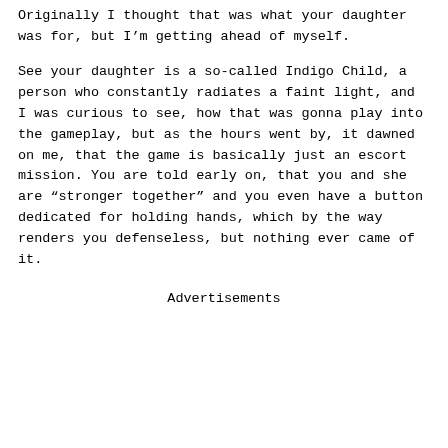Originally I thought that was what your daughter was for, but I'm getting ahead of myself.
See your daughter is a so-called Indigo Child, a person who constantly radiates a faint light, and I was curious to see, how that was gonna play into the gameplay, but as the hours went by, it dawned on me, that the game is basically just an escort mission. You are told early on, that you and she are “stronger together” and you even have a button dedicated for holding hands, which by the way renders you defenseless, but nothing ever came of it.
Advertisements